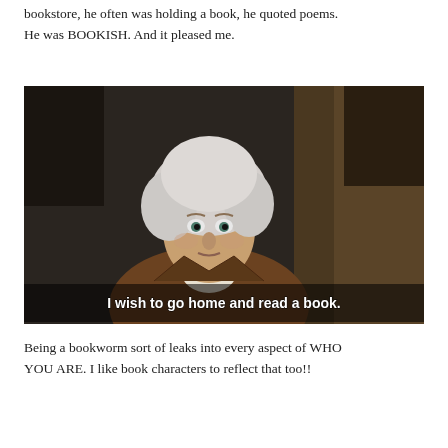bookstore, he often was holding a book, he quoted poems. He was BOOKISH. And it pleased me.
[Figure (photo): A man in historical costume with a white wig wearing a brown jacket and white cravat, with subtitle text 'I wish to go home and read a book.']
Being a bookworm sort of leaks into every aspect of WHO YOU ARE. I like book characters to reflect that too!!